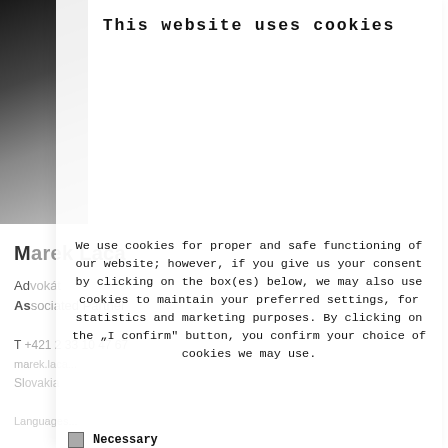[Figure (photo): Partial view of a person's photo in the top-left corner, partially obscured by cookie consent overlay]
Marek Laca
Advokát
Associated Partner
T +421 2 33 10 47 67
marek.laca@...
Slovakia
La[nguages] ...
This website uses cookies
We use cookies for proper and safe functioning of our website; however, if you give us your consent by clicking on the box(es) below, we may also use cookies to maintain your preferred settings, for statistics and marketing purposes. By clicking on the „I confirm" button, you confirm your choice of cookies we may use.
Necessary
Preferences
Statistics
Marketing
Show more
For more information, please see our Cookie